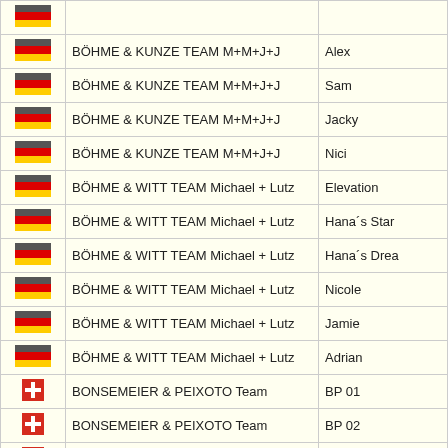| Flag | Team | Name |
| --- | --- | --- |
| DE | BÖHME & KUNZE TEAM M+M+J+J | Alex |
| DE | BÖHME & KUNZE TEAM M+M+J+J | Sam |
| DE | BÖHME & KUNZE TEAM M+M+J+J | Jacky |
| DE | BÖHME & KUNZE TEAM M+M+J+J | Nici |
| DE | BÖHME & WITT TEAM Michael + Lutz | Elevation |
| DE | BÖHME & WITT TEAM Michael + Lutz | Hana´s Star |
| DE | BÖHME & WITT TEAM Michael + Lutz | Hana´s Drea |
| DE | BÖHME & WITT TEAM Michael + Lutz | Nicole |
| DE | BÖHME & WITT TEAM Michael + Lutz | Jamie |
| DE | BÖHME & WITT TEAM Michael + Lutz | Adrian |
| CH | BONSEMEIER & PEIXOTO Team | BP 01 |
| CH | BONSEMEIER & PEIXOTO Team | BP 02 |
| CH | BONSEMEIER & PEIXOTO Team | BP 03 |
| CH | BONSEMEIER & PEIXOTO Team | BP 04 |
| CH | BONSEMEIER & PEIXOTO Team | BP 05 |
| DE | BRANDT Daniel ORL | Panzer |
| DE | BRANDT Daniel ORL | Merkel |
| DE | BRANDT Daniel ORL | Anne |
| DE | BRANDT Daniel ORL | ... |